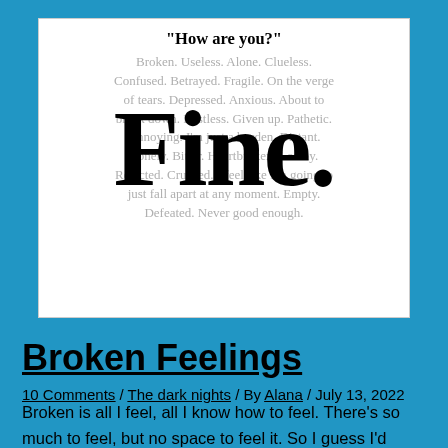[Figure (illustration): A white box containing gray italic text listing negative emotions (Broken, Useless, Alone, Clueless, Confused, Betrayed, Fragile, On the verge of tears, Depressed, Anxious, About to break down, Restless, Given up, Pathetic, Annoying, I'm just a burden, Distant, Lonely, Bitter, Heartbroken, Lonely, Rejected, Crushed, I feel like I'm going to just fall apart at any moment, Empty, Defeated, Never good enough) with a large bold 'Fine.' overlaid in black serif text on top of them, and a quote header 'How are you?' at the top.]
Broken Feelings
10 Comments / The dark nights / By Alana / July 13, 2022
Broken is all I feel, all I know how to feel. There's so much to feel, but no space to feel it. So I guess I'd better not feel anything at all. When words